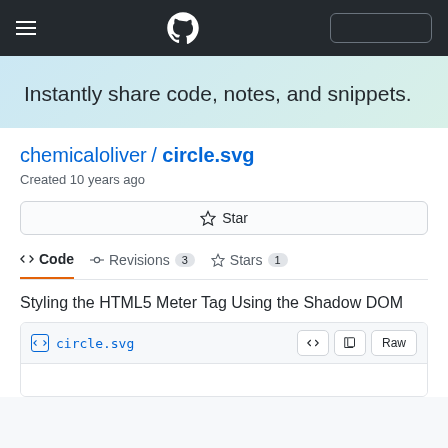GitHub navigation header with hamburger menu, GitHub logo, and search box
Instantly share code, notes, and snippets.
chemicaloliver / circle.svg
Created 10 years ago
Star
<> Code   Revisions 3   Stars 1
Styling the HTML5 Meter Tag Using the Shadow DOM
circle.svg   <>   Raw